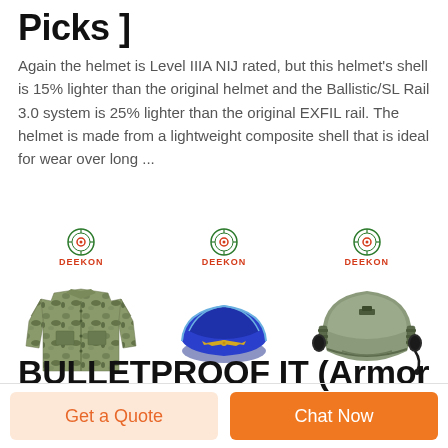Picks ]
Again the helmet is Level IIIA NIJ rated, but this helmet's shell is 15% lighter than the original helmet and the Ballistic/SL Rail 3.0 system is 25% lighter than the original EXFIL rail. The helmet is made from a lightweight composite shell that is ideal for wear over long ...
[Figure (photo): Three product images from DEEKON: a camouflage military jacket, a blue military/aviation cap with gold wing insignia, and a gray tactical ballistic helmet with communication headset and rail system.]
BULLETPROOF IT (Armor
Get a Quote
Chat Now